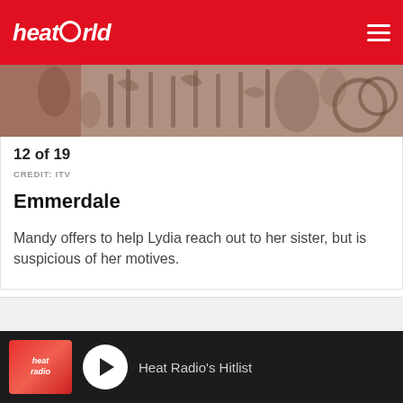[Figure (logo): Heatworld logo in white italic text on red background with hamburger menu icon]
[Figure (photo): Partially visible TV show image strip with muted brownish tones showing abstract pattern]
12 of 19
CREDIT: ITV
Emmerdale
Mandy offers to help Lydia reach out to her sister, but is suspicious of her motives.
[Figure (other): Grey advertisement placeholder area]
Heat Radio's Hitlist